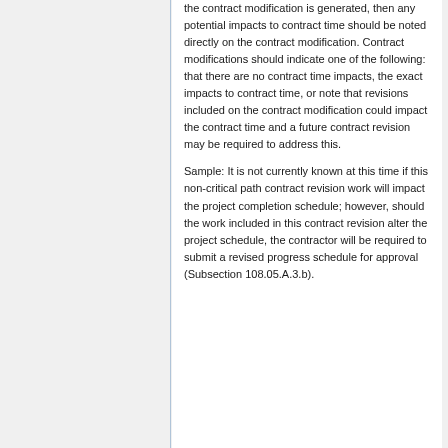the contract modification is generated, then any potential impacts to contract time should be noted directly on the contract modification. Contract modifications should indicate one of the following: that there are no contract time impacts, the exact impacts to contract time, or note that revisions included on the contract modification could impact the contract time and a future contract revision may be required to address this.
Sample: It is not currently known at this time if this non-critical path contract revision work will impact the project completion schedule; however, should the work included in this contract revision alter the project schedule, the contractor will be required to submit a revised progress schedule for approval (Subsection 108.05.A.3.b).